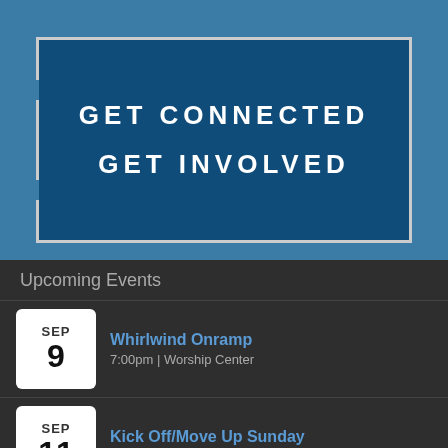GET CONNECTED
GET INVOLVED
Upcoming Events
SEP 9 | Whirlwind Onramp | 7:00pm | Worship Center
SEP 11 | Kick Off/Move Up Sunday | All day
SEP 11 | Group & Teams Sign Up | 9:30am | Concourse
SEP 11 | Worship Service - One United Service | 10:00am | Worship Center
SEP 11 | Central Kids